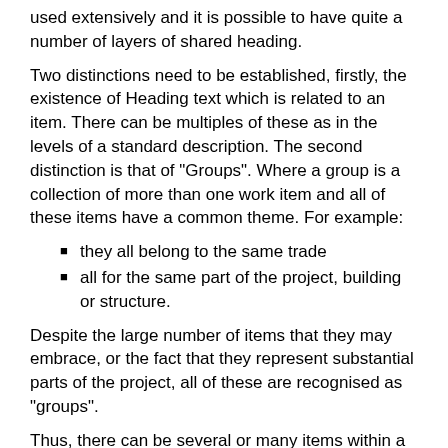used extensively and it is possible to have quite a number of layers of shared heading.
Two distinctions need to be established, firstly, the existence of Heading text which is related to an item. There can be multiples of these as in the levels of a standard description. The second distinction is that of "Groups". Where a group is a collection of more than one work item and all of these items have a common theme. For example:
they all belong to the same trade
all for the same part of the project, building or structure.
Despite the large number of items that they may embrace, or the fact that they represent substantial parts of the project, all of these are recognised as "groups".
Thus, there can be several or many items within a group and there can be layers of groups within groups, all of which collectively constitute the project.